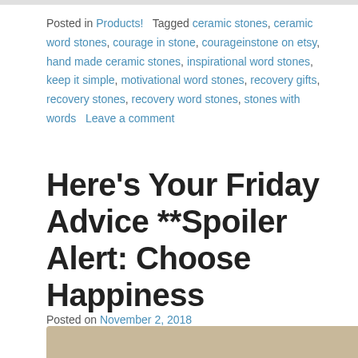Posted in Products!   Tagged ceramic stones, ceramic word stones, courage in stone, courageinstone on etsy, hand made ceramic stones, inspirational word stones, keep it simple, motivational word stones, recovery gifts, recovery stones, recovery word stones, stones with words   Leave a comment
Here's Your Friday Advice **Spoiler Alert: Choose Happiness
Posted on November 2, 2018
[Figure (photo): Partial bottom strip showing the top of an image, likely a photo of ceramic stones]